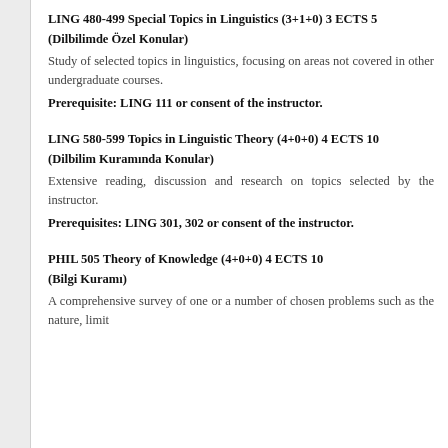LING 480-499 Special Topics in Linguistics (3+1+0) 3 ECTS 5
(Dilbilimde Özel Konular)
Study of selected topics in linguistics, focusing on areas not covered in other undergraduate courses.
Prerequisite: LING 111 or consent of the instructor.
LING 580-599 Topics in Linguistic Theory (4+0+0) 4 ECTS 10
(Dilbilim Kuramında Konular)
Extensive reading, discussion and research on topics selected by the instructor.
Prerequisites: LING 301, 302 or consent of the instructor.
PHIL 505 Theory of Knowledge (4+0+0) 4 ECTS 10
(Bilgi Kuramı)
A comprehensive survey of one or a number of chosen problems such as the nature, limit